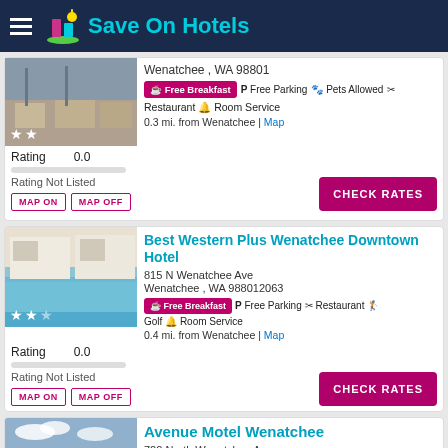Save On Hotels
Wenatchee , WA 98801
Free Breakfast | Free Parking | Pets Allowed | Restaurant | Room Service
Rating 0.0
0.3 mi. from Wenatchee | Map
Rating Not Listed
Best Western Plus Wenatchee Downtown Hotel
815 N Wenatchee Ave
Wenatchee , WA 988012063
Free Breakfast | Free Parking | Restaurant | Golf | Room Service
Rating 0.0
0.4 mi. from Wenatchee | Map
Rating Not Listed
Avenue Motel Wenatchee
720 North Wenatchee Avenue
Wenatchee , WA 98801